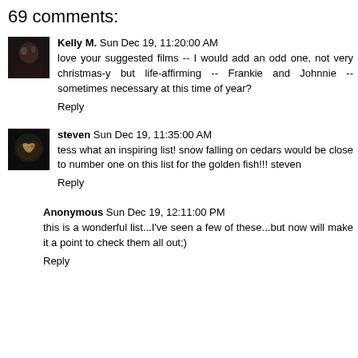69 comments:
Kelly M.  Sun Dec 19, 11:20:00 AM
love your suggested films -- I would add an odd one, not very christmas-y but life-affirming -- Frankie and Johnnie -- sometimes necessary at this time of year?
Reply
steven  Sun Dec 19, 11:35:00 AM
tess what an inspiring list! snow falling on cedars would be close to number one on this list for the golden fish!!! steven
Reply
Anonymous  Sun Dec 19, 12:11:00 PM
this is a wonderful list...I've seen a few of these...but now will make it a point to check them all out;)
Reply